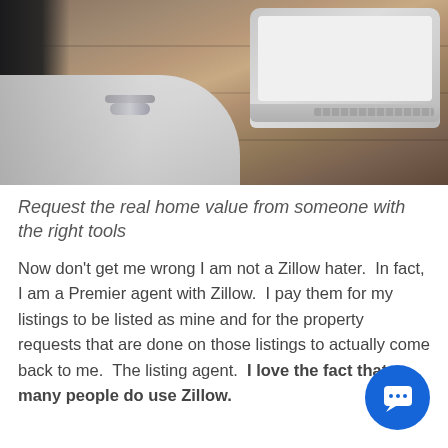[Figure (photo): Person in white sleeve with bracelets using a laptop on a wooden table, viewed from above/side angle]
Request the real home value from someone with the right tools
Now don't get me wrong I am not a Zillow hater.  In fact, I am a Premier agent with Zillow.  I pay them for my listings to be listed as mine and for the property requests that are done on those listings to actually come back to me.  The listing agent.  I love the fact that so many people do use Zillow.